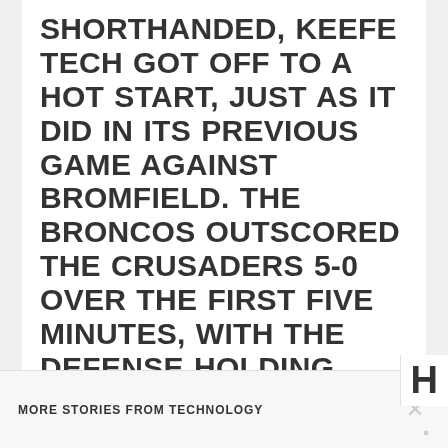SHORTHANDED, KEEFE TECH GOT OFF TO A HOT START, JUST AS IT DID IN ITS PREVIOUS GAME AGAINST BROMFIELD. THE BRONCOS OUTSCORED THE CRUSADERS 5-0 OVER THE FIRST FIVE MINUTES, WITH THE DEFENSE HOLDING WHITINSVILLE CHRISTIAN 0-FOR-8 FROM THE FIELD. BUT THE CRUSADERS ENDED THE QUARTER WITH A 6-0 RUN, THEN SCORED THE FIRST EIGHT POINTS OF THE SECOND QUARTER TO OPEN UP A
MORE STORIES FROM TECHNOLOGY